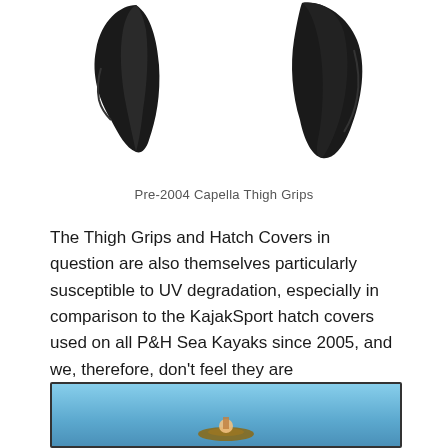[Figure (photo): Two black Pre-2004 Capella Thigh Grips shown against white background, one on left and one on right]
Pre-2004 Capella Thigh Grips
The Thigh Grips and Hatch Covers in question are also themselves particularly susceptible to UV degradation, especially in comparison to the KajakSport hatch covers used on all P&H Sea Kayaks since 2005, and we, therefore, don't feel they are representative of the standards of quality paddlers have come to expect from P&H.
[Figure (photo): Partial photo at bottom of page showing blue sky, appears to be a kayaking scene]